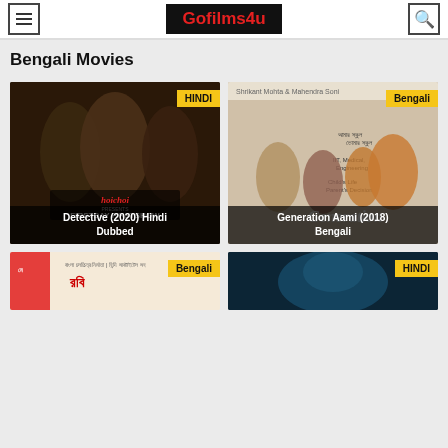Gofilms4u
Bengali Movies
[Figure (screenshot): Movie poster for Detective (2020) Hindi Dubbed, hoichoi presents FIRSTDAY FIRSTSHOW, with HINDI badge]
Detective (2020) Hindi Dubbed
[Figure (screenshot): Movie poster for Generation Aami (2018) Bengali, with Bengali badge]
Generation Aami (2018) Bengali
[Figure (screenshot): Partial movie poster bottom left with Bengali badge]
[Figure (screenshot): Partial movie poster bottom right with HINDI badge]